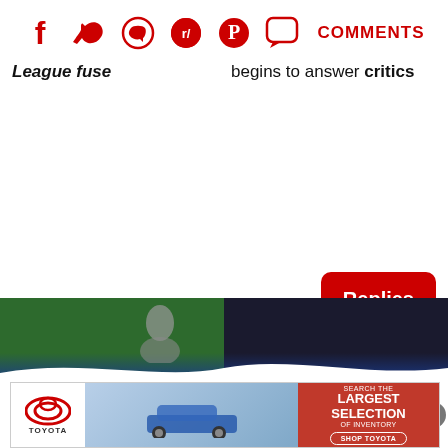[Figure (infographic): Social sharing bar with icons for Facebook, Twitter, WhatsApp, Reddit, Pinterest, speech bubble/comments icon, and COMMENTS label in red]
League fuse
begins to answer critics
[Figure (infographic): Red Replies button UI element]
[Figure (infographic): Dark blue notification bell circle button with X close button]
[Figure (photo): Article thumbnail images - green background left, dark background right, with a person visible]
[Figure (infographic): Toyota advertisement banner: Toyota logo left, car image center, red section with LARGEST SELECTION OF INVENTORY text and SHOP TOYOTA button]